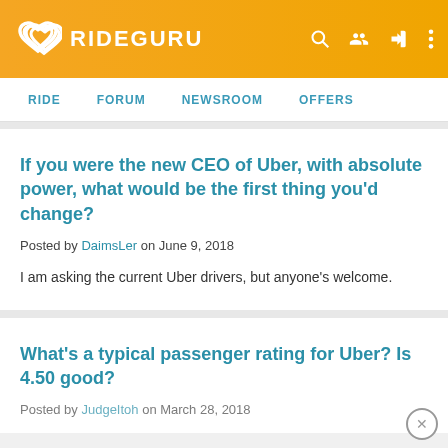RIDEGURU
RIDE   FORUM   NEWSROOM   OFFERS
If you were the new CEO of Uber, with absolute power, what would be the first thing you'd change?
Posted by DaimsLer on June 9, 2018
I am asking the current Uber drivers, but anyone's welcome.
What's a typical passenger rating for Uber? Is 4.50 good?
Posted by JudgeItoh on March 28, 2018